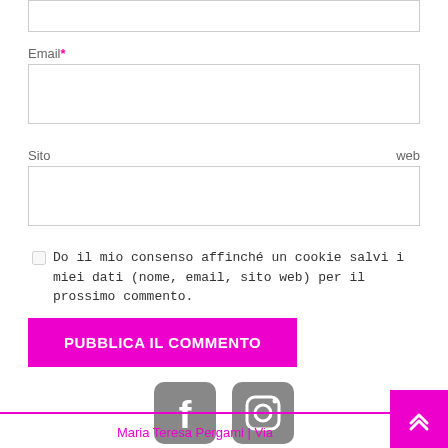Email*
[Figure (other): Email input field (form text box)]
Sito web
[Figure (other): Sito web input field (form text box)]
Do il mio consenso affinché un cookie salvi i miei dati (nome, email, sito web) per il prossimo commento.
[Figure (other): Pubblica il commento button (magenta/pink)]
[Figure (other): Facebook and Instagram social media icons]
Maria Teresa Pergami | Via